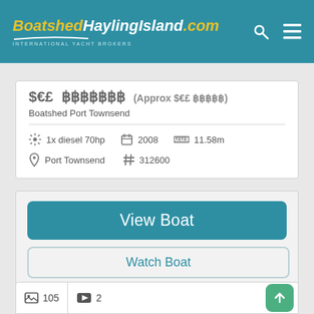BoatshedHaylingIsland.com — INTERNATIONAL YACHT BROKERS
$€£ price (Approx $€£ value)
Boatshed Port Townsend
1x diesel 70hp   2008   11.58m
Port Townsend   # 312600
View Boat
Watch Boat
105   2